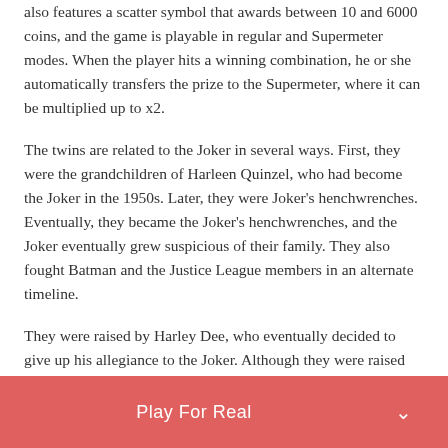also features a scatter symbol that awards between 10 and 6000 coins, and the game is playable in regular and Supermeter modes. When the player hits a winning combination, he or she automatically transfers the prize to the Supermeter, where it can be multiplied up to x2.
The twins are related to the Joker in several ways. First, they were the grandchildren of Harleen Quinzel, who had become the Joker in the 1950s. Later, they were Joker's henchwrenches. Eventually, they became the Joker's henchwrenches, and the Joker eventually grew suspicious of their family. They also fought Batman and the Justice League members in an alternate timeline.
They were raised by Harley Dee, who eventually decided to give up his allegiance to the Joker. Although they were raised by a normal family, the twins had the Joker gene in them and joined his gang as children. They both have long blond hair,
Play For Real